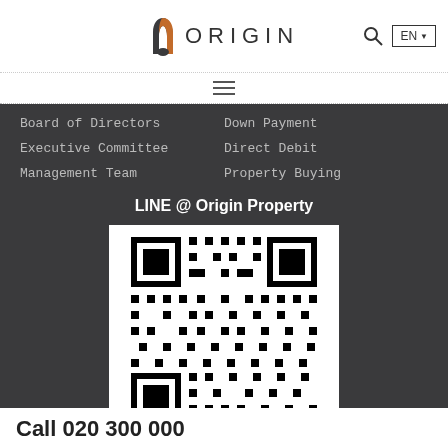[Figure (logo): Origin Property logo with stylized O icon and ORIGIN text, plus search icon and EN language selector]
[Figure (other): Hamburger menu icon (three horizontal lines)]
Board of Directors
Executive Committee
Management Team
Down Payment
Direct Debit
Property Buying
LINE @ Origin Property
[Figure (other): QR code for LINE @ Origin Property]
Call 020 300 000